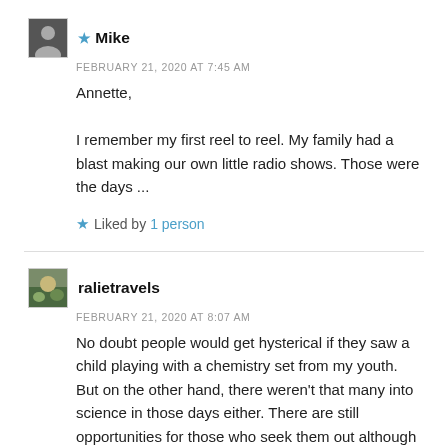★ Mike
FEBRUARY 21, 2020 AT 7:45 AM
Annette,

I remember my first reel to reel. My family had a blast making our own little radio shows. Those were the days ...
★ Liked by 1 person
ralietravels
FEBRUARY 21, 2020 AT 8:07 AM
No doubt people would get hysterical if they saw a child playing with a chemistry set from my youth. But on the other hand, there weren't that many into science in those days either. There are still opportunities for those who seek them out although they may be more formalized.